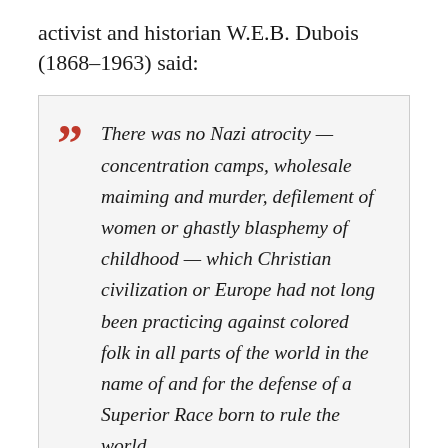activist and historian W.E.B. Dubois (1868–1963) said:
There was no Nazi atrocity — concentration camps, wholesale maiming and murder, defilement of women or ghastly blasphemy of childhood — which Christian civilization or Europe had not long been practicing against colored folk in all parts of the world in the name of and for the defense of a Superior Race born to rule the world.
Zimmerer emphasizes that another author posited comparable arguments. This is the old superstar of post-colonialism-studies, Aimé Césaire (1913–2008), who